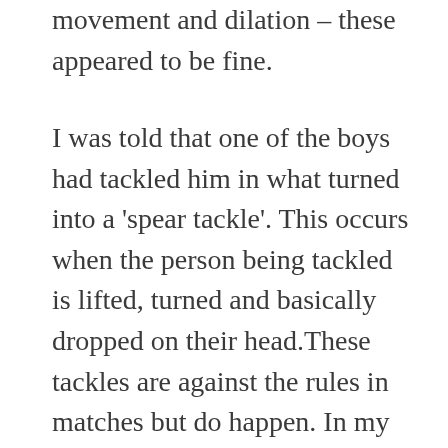movement and dilation – these appeared to be fine.
I was told that one of the boys had tackled him in what turned into a ‘spear tackle’. This occurs when the person being tackled is lifted, turned and basically dropped on their head.These tackles are against the rules in matches but do happen. In my opinion they are not punished